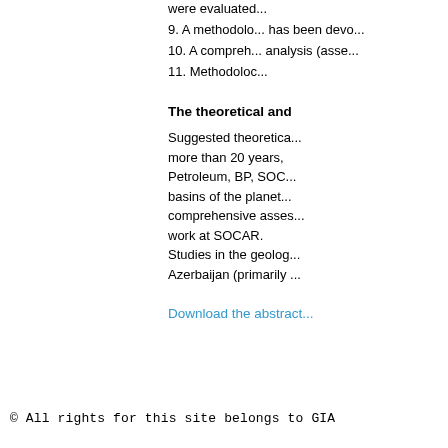were evaluated...
9. A methodology... has been developed...
10. A comprehensive... analysis (assessed...
11. Methodology...
The theoretical and
Suggested theoretical... more than 20 years, Petroleum, BP, SOC... basins of the planet... comprehensive assessment... work at SOCAR. Studies in the geology... Azerbaijan (primarily...
Download the abstract
© All rights for this site belongs to GIA